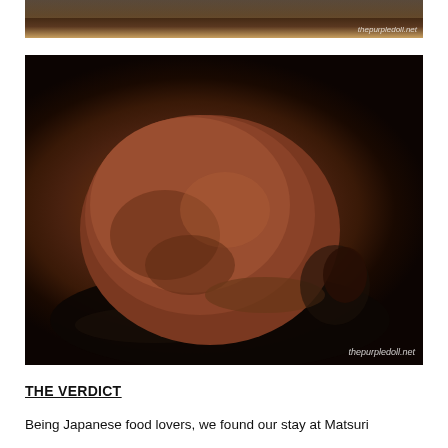[Figure (photo): Partial top photo showing bottom edge of a food/dish image with watermark 'thepurpledoll.net' at bottom right]
[Figure (photo): Close-up photo of a scoop of chocolate ice cream in a black bowl on a dark surface, with watermark 'thepurpledoll.net' at bottom right]
THE VERDICT
Being Japanese food lovers, we found our stay at Matsuri